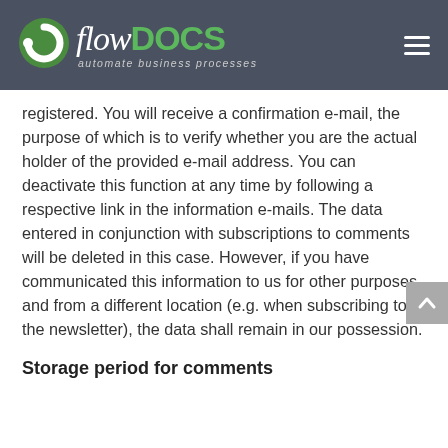flowDOCS — automate business processes
registered. You will receive a confirmation e-mail, the purpose of which is to verify whether you are the actual holder of the provided e-mail address. You can deactivate this function at any time by following a respective link in the information e-mails. The data entered in conjunction with subscriptions to comments will be deleted in this case. However, if you have communicated this information to us for other purposes and from a different location (e.g. when subscribing to the newsletter), the data shall remain in our possession.
Storage period for comments